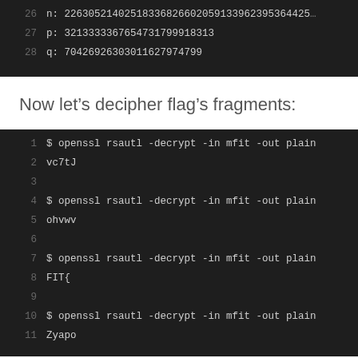[Figure (screenshot): Dark terminal/code block showing lines 26-28 with RSA key values: n, p, q]
Now let's decipher flag's fragments:
[Figure (screenshot): Dark terminal/code block showing lines 1-11 with openssl rsautl -decrypt commands and their outputs: vc7tJ, ohvwv, FIT{, Zyapo]